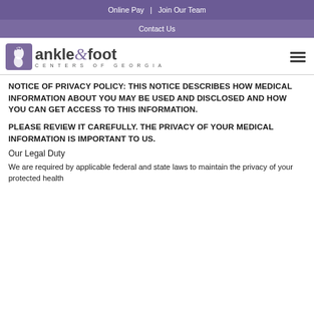Online Pay  |  Join Our Team
Contact Us
[Figure (logo): Ankle & Foot Centers of Georgia logo with purple foot icon and wordmark]
NOTICE OF PRIVACY POLICY: THIS NOTICE DESCRIBES HOW MEDICAL INFORMATION ABOUT YOU MAY BE USED AND DISCLOSED AND HOW YOU CAN GET ACCESS TO THIS INFORMATION.
PLEASE REVIEW IT CAREFULLY. THE PRIVACY OF YOUR MEDICAL INFORMATION IS IMPORTANT TO US.
Our Legal Duty
We are required by applicable federal and state laws to maintain the privacy of your protected health